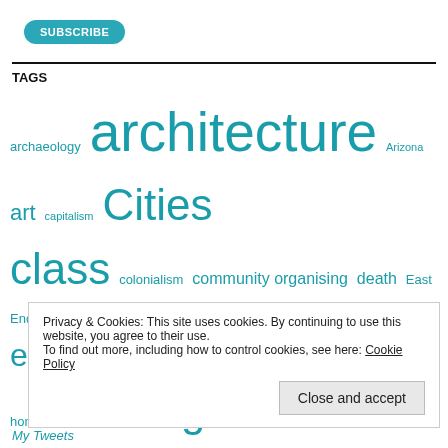[Figure (other): Subscribe button (teal rounded rectangle)]
TAGS
archaeology architecture Arizona art capitalism Cities class colonialism community organising death East End Empire environment farming feminism Gardens gender home housing Labour London Los Angeles Malta Manchester mining organising Paris philosophy planning poetry politics poverty public space race racism segregation smallholding space
Privacy & Cookies: This site uses cookies. By continuing to use this website, you agree to their use. To find out more, including how to control cookies, see here: Cookie Policy
Close and accept
My Tweets